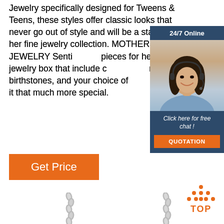Jewelry specifically designed for Tweens & Teens, these styles offer classic looks that never go out of style and will be a staple of her fine jewelry collection. MOTHERS JEWELRY Sentimental pieces for her jewelry box that include customized names, birthstones, and your choice of metal make it that much more special.
[Figure (photo): Customer service representative / chat widget with '24/7 Online' header, photo of a smiling woman with headset, 'Click here for free chat!' text, and orange QUOTATION button]
[Figure (other): Orange 'Get Price' button]
[Figure (photo): Silver chain necklace bottom portion visible at lower left]
[Figure (photo): Silver chain necklace bottom portion visible at lower center-right]
[Figure (other): Orange dots triangle 'TOP' badge at lower right]